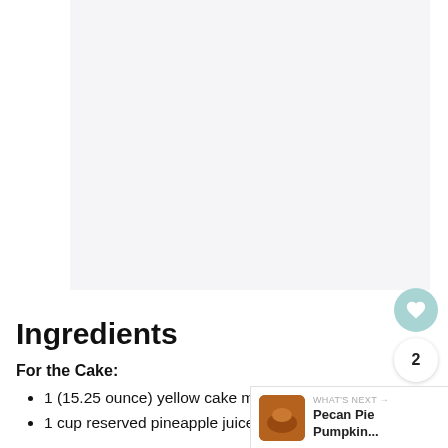[Figure (photo): Large photo area of a cake dish (partially visible, light gray background placeholder)]
Ingredients
For the Cake:
1 (15.25 ounce) yellow cake mix
1 cup reserved pineapple juice (from slices)